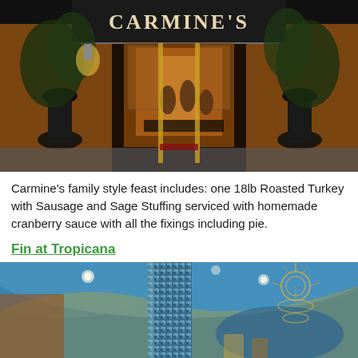[Figure (photo): Exterior entrance of Carmine's restaurant with dark awning showing the restaurant name, decorative urns with plants on either side, warm interior lighting visible through entrance, people at a counter inside]
Carmine's family style feast includes: one 18lb Roasted Turkey with Sausage and Sage Stuffing serviced with homemade cranberry sauce with all the fixings including pie.
Fin at Tropicana
[Figure (photo): Interior of Fin at Tropicana restaurant showing decorative ceiling with blue paint and curved shapes, a tall ornate column with mosaic tile, and a sculptural chandelier, warm ambient lighting]